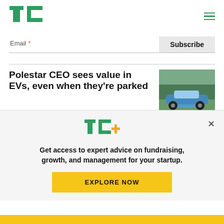TechCrunch (TC logo) with hamburger menu
Email *
Subscribe
Polestar CEO sees value in EVs, even when they're parked
[Figure (photo): Blue Polestar electric vehicle at an outdoor event]
[Figure (logo): TC+ logo in green with plus sign in orange/gold]
Get access to expert advice on fundraising, growth, and management for your startup.
EXPLORE NOW